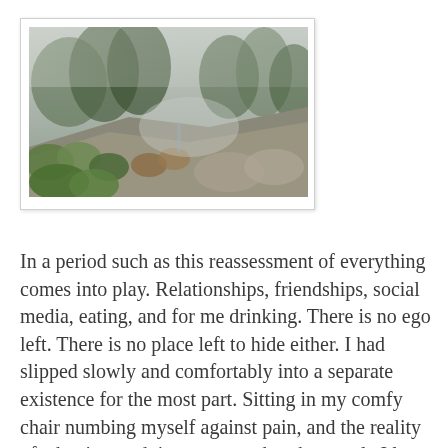[Figure (photo): A misty forest or valley scene viewed from above, showing dense green trees, rocky terrain, and fog or mist in the background. The landscape appears lush and wild.]
In a period such as this reassessment of everything comes into play. Relationships, friendships, social media, eating, and for me drinking. There is no ego left. There is no place left to hide either. I had slipped slowly and comfortably into a separate existence for the most part. Sitting in my comfy chair numbing myself against pain, and the reality of what it was doing to me and to the people I love most. I'm currently in a place where alcohol has no place for me. I know full well